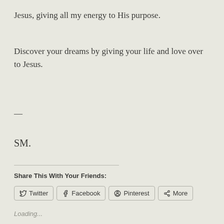Jesus, giving all my energy to His purpose.
Discover your dreams by giving your life and love over to Jesus.
—
SM.
Share This With Your Friends:
Twitter  Facebook  Pinterest  More
Loading...